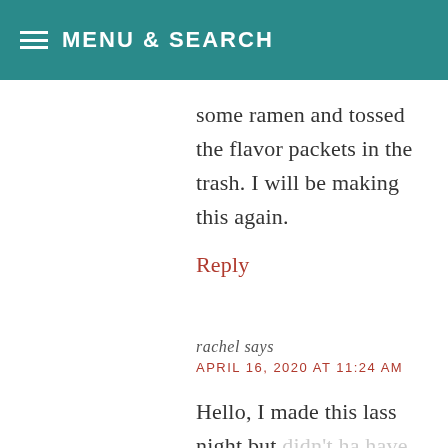MENU & SEARCH
some ramen and tossed the flavor packets in the trash. I will be making this again.
Reply
rachel says
APRIL 16, 2020 AT 11:24 AM
Hello, I made this lass night but didn't ha have the shrimp... the